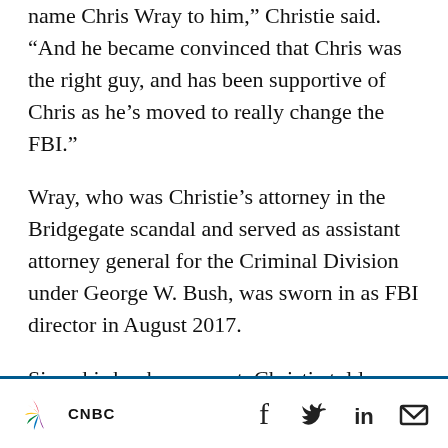name Chris Wray to him,” Christie said. “And he became convinced that Chris was the right guy, and has been supportive of Chris as he’s moved to really change the FBI.”
Wray, who was Christie’s attorney in the Bridgegate scandal and served as assistant attorney general for the Criminal Division under George W. Bush, was sworn in as FBI director in August 2017.
Since his book came out, Christie told CNBC, he has spoken to Trump. The president said, ‘‘You’re nice to me,’’ recalled Christie, who described how best to communicate with Trump
CNBC [logo] [social icons: facebook, twitter, linkedin, email]